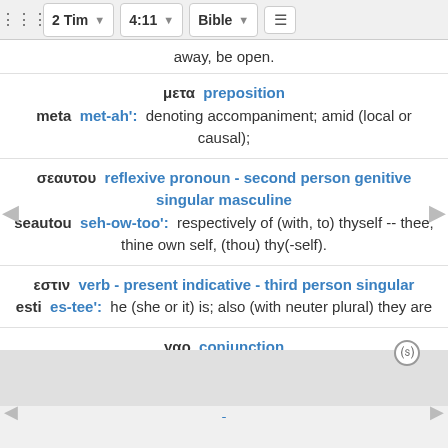2 Tim  4:11  Bible
away, be open.
μετα  preposition
meta  met-ah':  denoting accompaniment; amid (local or causal);
σεαυτου  reflexive pronoun - second person genitive singular masculine
seautou  seh-ow-too':  respectively of (with, to) thyself -- thee, thine own self, (thou) thy(-self).
εστιν  verb - present indicative - third person singular
esti  es-tee':  he (she or it) is; also (with neuter plural) they are
γαρ  conjunction
gar  gar:  assigning a reason (used in argument, explanations, or intensitive particles)